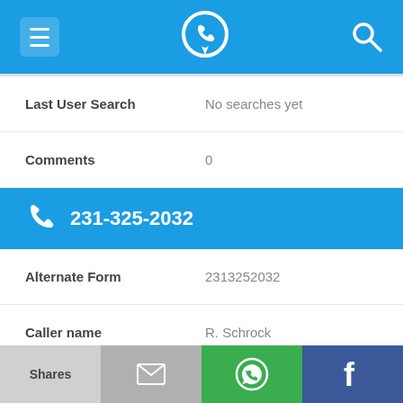[Figure (screenshot): Top navigation bar with hamburger menu icon, phone/location logo icon, and search icon on blue background]
Last User Search	No searches yet
Comments	0
231-325-2032
Alternate Form	2313252032
Caller name	R. Schrock
Last User Search	No searches yet
[Figure (screenshot): Bottom action bar with: Shares (light gray), email icon (gray), WhatsApp icon (green), Facebook icon (dark blue)]